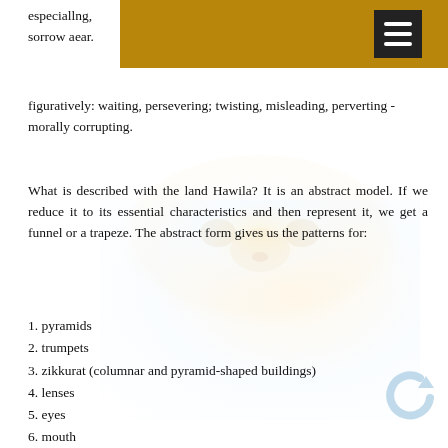especially … ng, sorrow a… ear.
figuratively: waiting, persevering; twisting, misleading, perverting - morally corrupting.
[Figure (illustration): Faint watermark-style image of a lion or big cat face, light pastel tones]
What is described with the land Hawila? It is an abstract model. If we reduce it to its essential characteristics and then represent it, we get a funnel or a trapeze. The abstract form gives us the patterns for:
1. pyramids
2. trumpets
3. zikkurat (columnar and pyramid-shaped buildings)
4. lenses
5. eyes
6. mouth
7. ear
8. columns
9. funnel
10. spiral staircases or ladders.
11. …